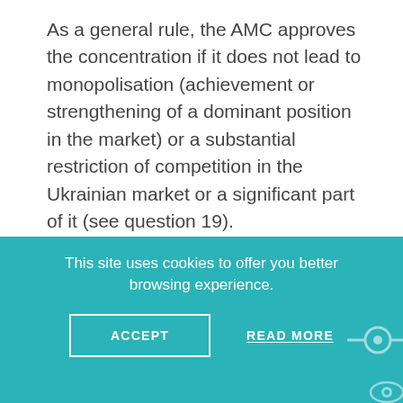As a general rule, the AMC approves the concentration if it does not lead to monopolisation (achievement or strengthening of a dominant position in the market) or a substantial restriction of competition in the Ukrainian market or a significant part of it (see question 19).
Under the Guidelines on the Assessment of Horizontal Mergers, the authority is also required to assess whether the concentration would result in any of the following effects:
unilateral anticompetitive effects whether the merger will eliminate
This site uses cookies to offer you better browsing experience.